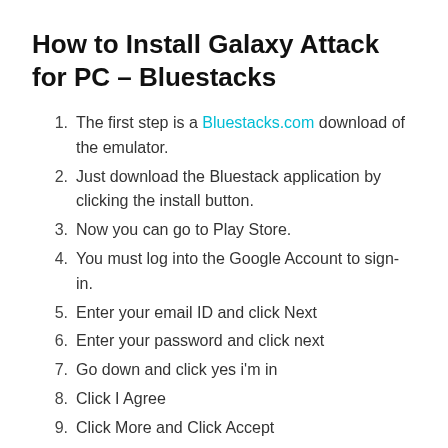How to Install Galaxy Attack for PC – Bluestacks
The first step is a Bluestacks.com download of the emulator.
Just download the Bluestack application by clicking the install button.
Now you can go to Play Store.
You must log into the Google Account to sign-in.
Enter your email ID and click Next
Enter your password and click next
Go down and click yes i'm in
Click I Agree
Click More and Click Accept
Type Galaxy Attack on search Play Store and